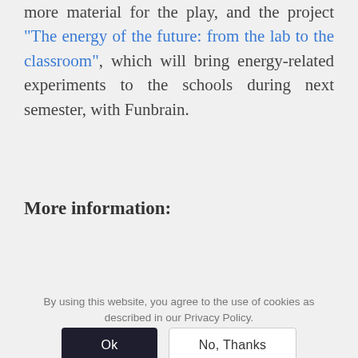more material for the play, and the project "The energy of the future: from the lab to the classroom", which will bring energy-related experiments to the schools during next semester, with Funbrain.
More information:
Cuenta la Ciencia website
By using this website, you agree to the use of cookies as described in our Privacy Policy.